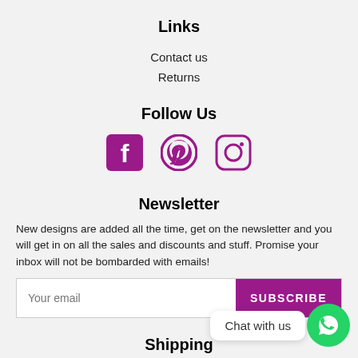Links
Contact us
Returns
Follow Us
[Figure (illustration): Social media icons: Facebook, Pinterest, Instagram in purple/magenta color]
Newsletter
New designs are added all the time, get on the newsletter and you will get in on all the sales and discounts and stuff. Promise your inbox will not be bombarded with emails!
Your email [input field] SUBSCRIBE [button]
Shipping
Chat with us